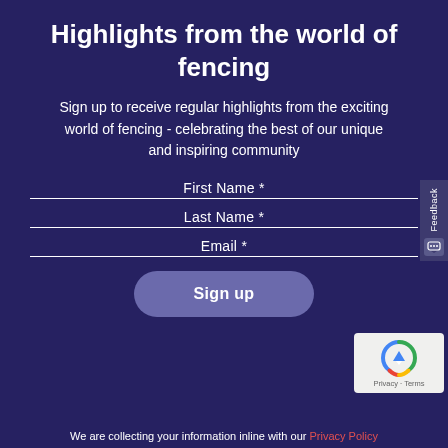Highlights from the world of fencing
Sign up to receive regular highlights from the exciting world of fencing - celebrating the best of our unique and inspiring community
First Name *
Last Name *
Email *
Sign up
We are collecting your information inline with our Privacy Policy